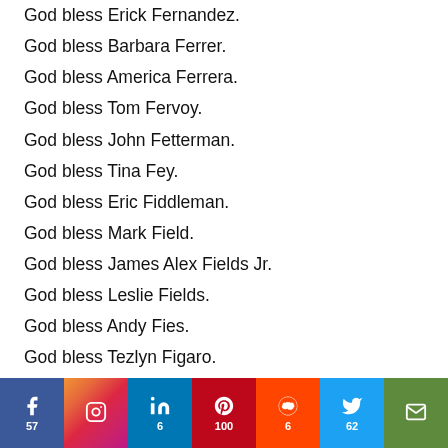God bless Erick Fernandez.
God bless Barbara Ferrer.
God bless America Ferrera.
God bless Tom Fervoy.
God bless John Fetterman.
God bless Tina Fey.
God bless Eric Fiddleman.
God bless Mark Field.
God bless James Alex Fields Jr.
God bless Leslie Fields.
God bless Andy Fies.
God bless Tezlyn Figaro.
God bless Frank Figliuzzi.
God bless Christiana Figueres.
God bless Jill Filipovic.
[Figure (infographic): Social sharing bar with icons and counts: Facebook (57), Instagram, LinkedIn (6), Pinterest (100), Reddit (6), Twitter (62), Email]